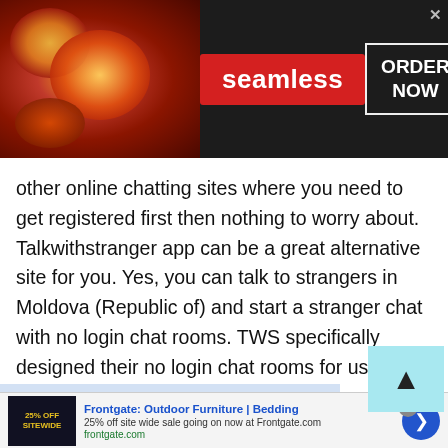[Figure (screenshot): Seamless food delivery advertisement banner with pizza image on left, red Seamless logo in center, and ORDER NOW button on right on dark background]
other online chatting sites where you need to get registered first then nothing to worry about. Talkwithstranger app can be a great alternative site for you. Yes, you can talk to strangers in Moldova (Republic of) and start a stranger chat with no login chat rooms. TWS specifically designed their no login chat rooms for users who have a busy life schedule. In fact, we all are busy and don't have enough time to fill up the long registration process.
[Figure (screenshot): Frontgate: Outdoor Furniture | Bedding advertisement with 25% off sitewide sale, showing product image on left, ad title and description, frontgate.com URL, and navigation arrow on right]